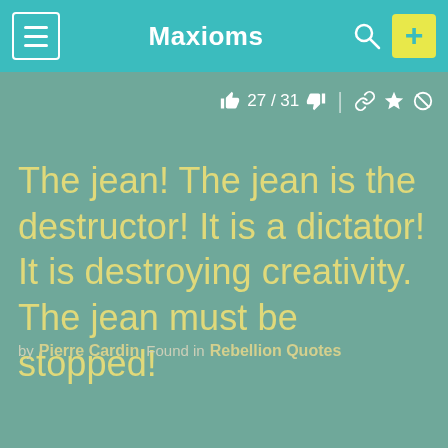Maxioms
27 / 31
The jean! The jean is the destructor! It is a dictator! It is destroying creativity. The jean must be stopped!
by Pierre Cardin  Found in  Rebellion Quotes